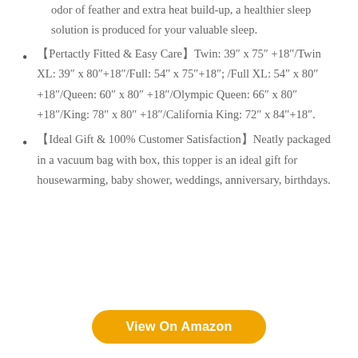odor of feather and extra heat build-up, a healthier sleep solution is produced for your valuable sleep.
【Pertactly Fitted & Easy Care】Twin: 39″ x 75″ +18″/Twin XL: 39″ x 80″+18″/Full: 54″ x 75″+18″; /Full XL: 54″ x 80″+18″/Queen: 60″ x 80″ +18″/Olympic Queen: 66″ x 80″+18″/King: 78″ x 80″ +18″/California King: 72″ x 84″+18″.
【Ideal Gift & 100% Customer Satisfaction】Neatly packaged in a vacuum bag with box, this topper is an ideal gift for housewarming, baby shower, weddings, anniversary, birthdays.
View On Amazon